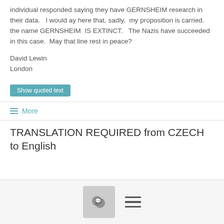individual responded saying they have GERNSHEIM research in their data.   I would ay here that, sadly,  my proposition is carried.  the name GERNSHEIM  IS EXTINCT.   The Nazis have succeeded in this case.  May that line rest in peace?
David Lewin
London
Show quoted text
≡ More
TRANSLATION REQUIRED from CZECH to English
[Figure (screenshot): Bottom navigation bar with a chat icon button and a hamburger menu icon]